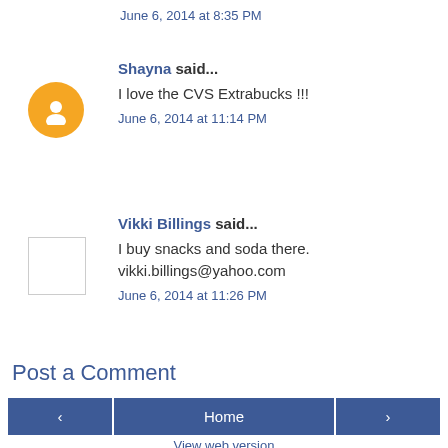June 6, 2014 at 8:35 PM
Shayna said...
I love the CVS Extrabucks !!!
June 6, 2014 at 11:14 PM
Vikki Billings said...
I buy snacks and soda there.
vikki.billings@yahoo.com
June 6, 2014 at 11:26 PM
Post a Comment
Home
View web version